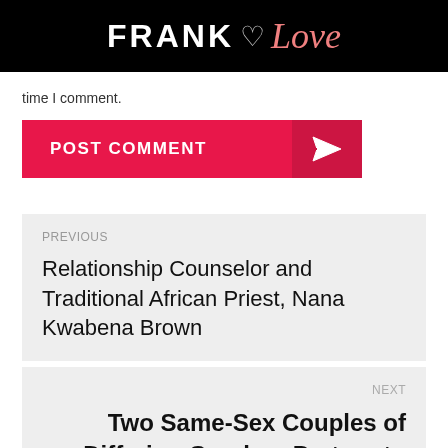FRANK Love
time I comment.
[Figure (other): POST COMMENT button with paper plane icon]
PREVIOUS
Relationship Counselor and Traditional African Priest, Nana Kwabena Brown
NEXT
Two Same-Sex Couples of Differing Genders Partner to Have and Raise ..